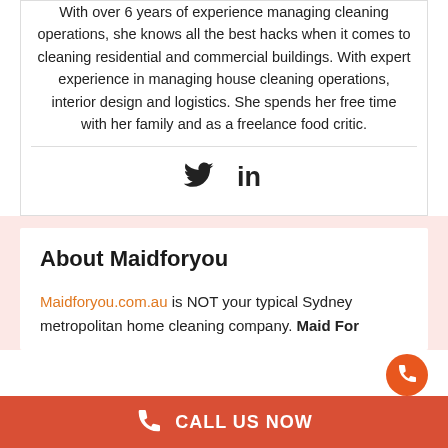With over 6 years of experience managing cleaning operations, she knows all the best hacks when it comes to cleaning residential and commercial buildings. With expert experience in managing house cleaning operations, interior design and logistics. She spends her free time with her family and as a freelance food critic.
[Figure (other): Social media icons: Twitter bird icon and LinkedIn 'in' icon]
About Maidforyou
Maidforyou.com.au is NOT your typical Sydney metropolitan home cleaning company. Maid For
CALL US NOW